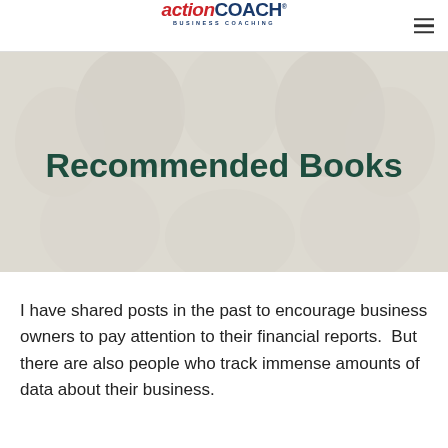actionCOACH BUSINESS COACHING
[Figure (photo): Hero banner with faded background photo of smiling people, overlaid with the title 'Recommended Books' in dark green bold text]
Recommended Books
I have shared posts in the past to encourage business owners to pay attention to their financial reports.  But there are also people who track immense amounts of data about their business.